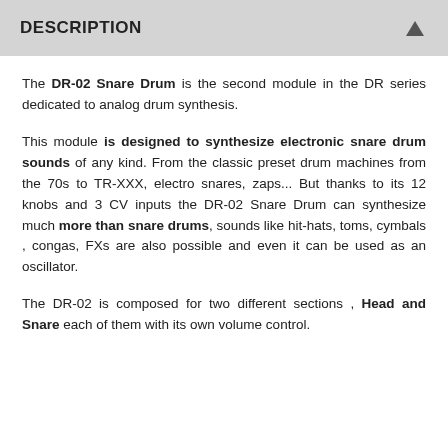DESCRIPTION
The DR-02 Snare Drum is the second module in the DR series dedicated to analog drum synthesis.
This module is designed to synthesize electronic snare drum sounds of any kind. From the classic preset drum machines from the 70s to TR-XXX, electro snares, zaps... But thanks to its 12 knobs and 3 CV inputs the DR-02 Snare Drum can synthesize much more than snare drums, sounds like hit-hats, toms, cymbals , congas, FXs are also possible and even it can be used as an oscillator.
The DR-02 is composed for two different sections , Head and Snare each of them with its own volume control.